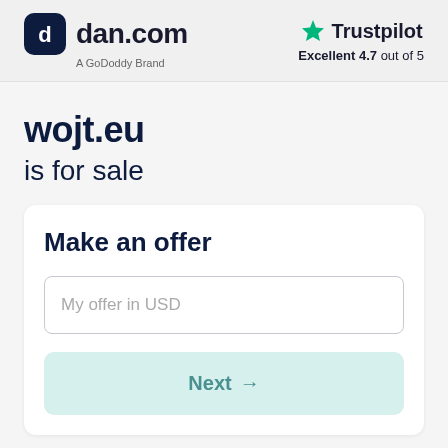[Figure (logo): dan.com logo - dark rounded square with 'd' icon, followed by 'dan.com' text and 'A GoDoddy Brand' subtitle]
[Figure (logo): Trustpilot logo with green star and text 'Trustpilot', rated 'Excellent 4.7 out of 5']
wojt.eu
is for sale
Make an offer
My offer in USD
Next →